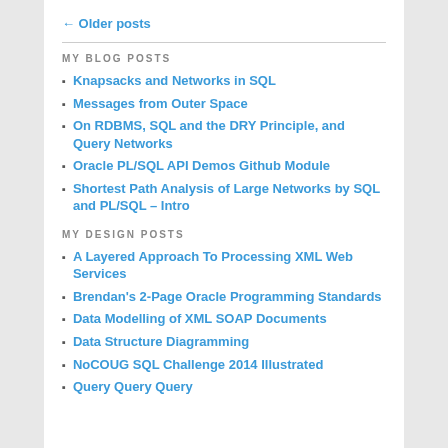← Older posts
MY BLOG POSTS
Knapsacks and Networks in SQL
Messages from Outer Space
On RDBMS, SQL and the DRY Principle, and Query Networks
Oracle PL/SQL API Demos Github Module
Shortest Path Analysis of Large Networks by SQL and PL/SQL – Intro
MY DESIGN POSTS
A Layered Approach To Processing XML Web Services
Brendan's 2-Page Oracle Programming Standards
Data Modelling of XML SOAP Documents
Data Structure Diagramming
NoCOUG SQL Challenge 2014 Illustrated
Query Query Query